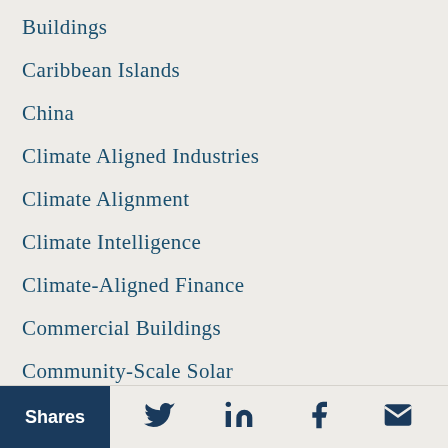Buildings
Caribbean Islands
China
Climate Aligned Industries
Climate Alignment
Climate Intelligence
Climate-Aligned Finance
Commercial Buildings
Community-Scale Solar
Corporate Renewables
Disruptive Technologies
Distributed Grid Infrastructure
Donor Impact Stories
Shares | Twitter | LinkedIn | Facebook | Email